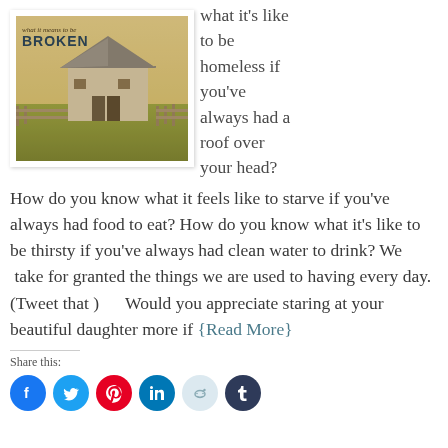[Figure (photo): Polaroid-style photo of a barn with overlaid text reading 'what it means to be BROKEN']
what it's like to be homeless if you've always had a roof over your head?
How do you know what it feels like to starve if you've always had food to eat? How do you know what it's like to be thirsty if you've always had clean water to drink? We take for granted the things we are used to having every day. (Tweet that )      Would you appreciate staring at your beautiful daughter more if {Read More}
Share this: